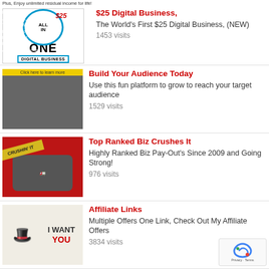[Figure (illustration): $25 All In One Digital Business thumbnail]
$25 Digital Business,
The World's First $25 Digital Business, (NEW)
1453 visits
[Figure (photo): Build Your Audience Today thumbnail - thumbs up image]
Build Your Audience Today
Use this fun platform to grow to reach your target audience
1529 visits
[Figure (illustration): Top Ranked Biz Crushes It - monster truck Crushin It]
Top Ranked Biz Crushes It
Highly Ranked Biz Pay-Out's Since 2009 and Going Strong!
976 visits
[Figure (illustration): Affiliate Links - I Want You Uncle Sam image]
Affiliate Links
Multiple Offers One Link, Check Out My Affiliate Offers
3834 visits
[Figure (illustration): Shark Infested Internet - beware shark image]
Shark Infested Internet